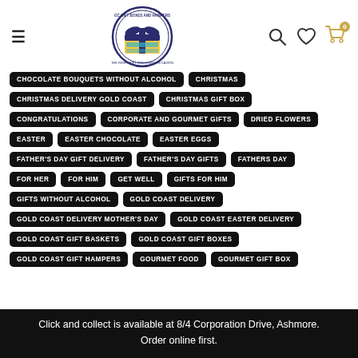[Figure (logo): GC Gift Boxes and Hampers circular logo with gift box graphic and text 'The right gift for every occasion']
CHOCOLATE BOUQUETS WITHOUT ALCOHOL
CHRISTMAS
CHRISTMAS DELIVERY GOLD COAST
CHRISTMAS GIFT BOX
CONGRATULATIONS
CORPORATE AND GOURMET GIFTS
DRIED FLOWERS
EASTER
EASTER CHOCOLATE
EASTER EGGS
FATHER'S DAY GIFT DELIVERY
FATHER'S DAY GIFTS
FATHERS DAY
FOR HER
FOR HIM
GET WELL
GIFTS FOR HIM
GIFTS WITHOUT ALCOHOL
GOLD COAST DELIVERY
GOLD COAST DELIVERY MOTHER'S DAY
GOLD COAST EASTER DELIVERY
GOLD COAST GIFT BASKETS
GOLD COAST GIFT BOXES
GOLD COAST GIFT HAMPERS
GOURMET FOOD
GOURMET GIFT BOX
Click and collect is available at 8/4 Corporation Drive, Ashmore. Order online first.